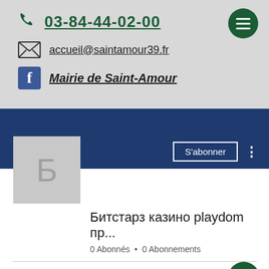03-84-44-02-00
accueil@saintamour39.fr
Mairie de Saint-Amour
[Figure (screenshot): YouTube channel page showing a blue banner, a grey profile icon with Cyrillic letter Б, a S'abonner (Subscribe) button, channel name 'Битстарз казино playdom пр...' and stats '0 Abonnés • 0 Abonnements']
Битстарз казино playdom пр...
0 Abonnés • 0 Abonnements